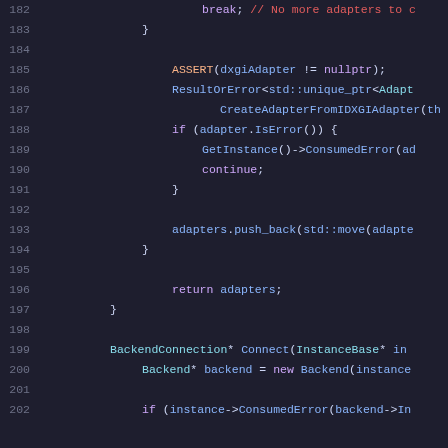[Figure (screenshot): Source code listing lines 182-202 in a dark-themed code editor showing C++ code with syntax highlighting. Line numbers in grey on left, keywords in purple, function names in blue, comments in red, macros in orange.]